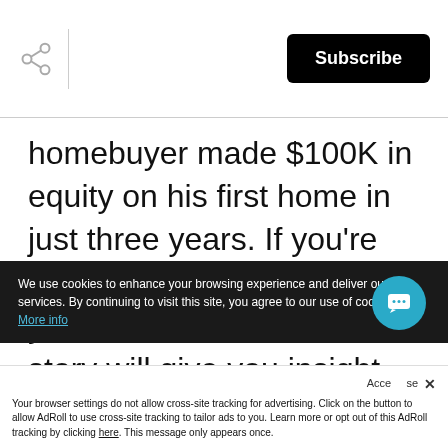Subscribe
homebuyer made $100K in equity on his first home in just three years. If you're considering purchasing your first ever home, his story will give you insight on what it could be like for you.
We use cookies to enhance your browsing experience and deliver our services. By continuing to visit this site, you agree to our use of cookies. More info
Your browser settings do not allow cross-site tracking for advertising. Click on the button to allow AdRoll to use cross-site tracking to tailor ads to you. Learn more or opt out of this AdRoll tracking by clicking here. This message only appears once.